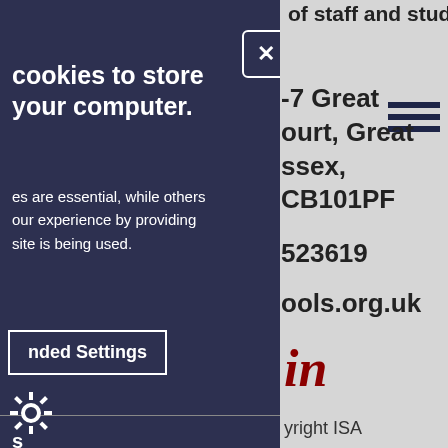of staff and students.
-7 Great
ourt, Great
ssex, CB10 1PF
523619
ools.org.uk
[Figure (logo): LinkedIn 'in' logo in dark red/maroon bold italic]
[Figure (other): Hamburger menu icon with three horizontal dark blue lines]
cookies to store
your computer.
es are essential, while others
our experience by providing
site is being used.
nded Settings
s
le core functionality such
ess to secure areas.
operly without
yright ISA
Contact us
oment by Pixl8
oy ReadyMembership